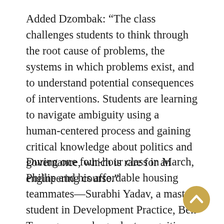Added Dzombak: “The class challenges students to think through the root cause of problems, the systems in which problems exist, and to understand potential consequences of interventions. Students are learning to navigate ambiguity using a human-centered process and gaining critical knowledge about politics and governance, which is rare for an engineering course.”
During one four-hour class in March, Phillip and his affordable housing teammates—Surabhi Yadav, a master’s student in Development Practice, Ben Truong, an undergraduate cognitive science student, and